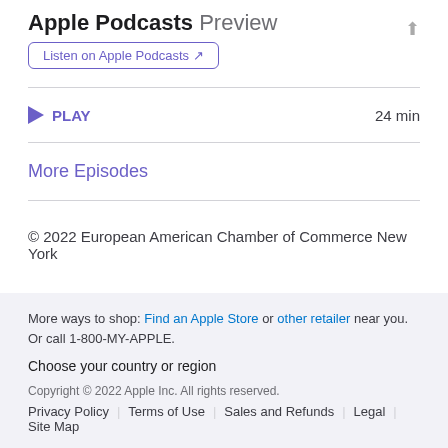Apple Podcasts Preview
Listen on Apple Podcasts
PLAY  24 min
More Episodes
© 2022 European American Chamber of Commerce New York
More ways to shop: Find an Apple Store or other retailer near you. Or call 1-800-MY-APPLE. Choose your country or region Copyright © 2022 Apple Inc. All rights reserved. Privacy Policy | Terms of Use | Sales and Refunds | Legal | Site Map